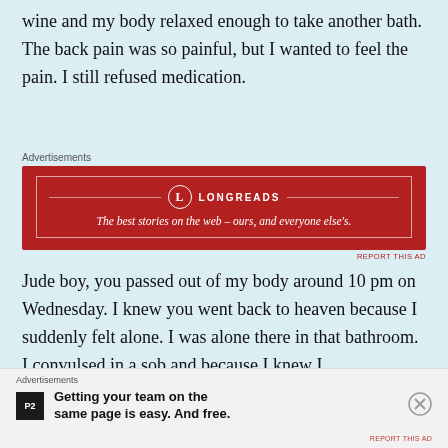wine and my body relaxed enough to take another bath. The back pain was so painful, but I wanted to feel the pain. I still refused medication.
[Figure (screenshot): Longreads advertisement banner with red background. Text reads: 'LONGREADS — The best stories on the web — ours, and everyone else's.']
Jude boy, you passed out of my body around 10 pm on Wednesday. I knew you went back to heaven because I suddenly felt alone. I was alone there in that bathroom. I convulsed in a sob and because I knew I
[Figure (screenshot): P2 advertisement. Logo square with 'P2'. Text: 'Getting your team on the same page is easy. And free.']